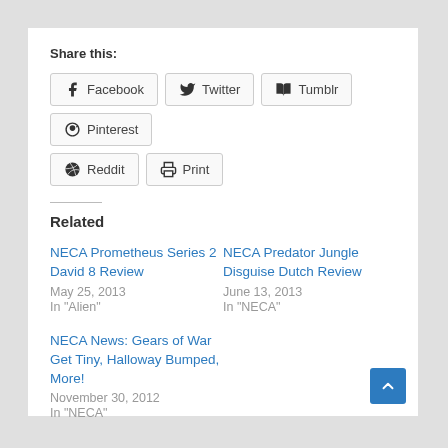Share this:
Facebook
Twitter
Tumblr
Pinterest
Reddit
Print
Related
NECA Prometheus Series 2 David 8 Review
May 25, 2013
In "Alien"
NECA Predator Jungle Disguise Dutch Review
June 13, 2013
In "NECA"
NECA News: Gears of War Get Tiny, Halloway Bumped, More!
November 30, 2012
In "NECA"